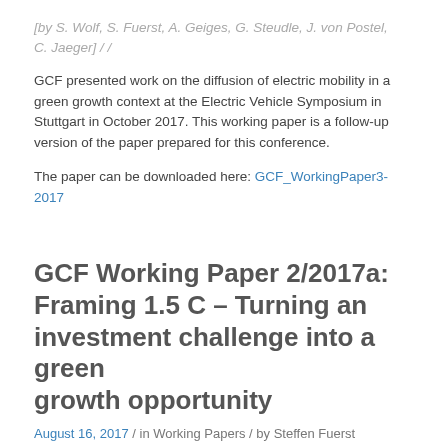[by S. Wolf, S. Fuerst, A. Geiges, G. Steudle, J. von Postel, C. Jaeger] / /
GCF presented work on the diffusion of electric mobility in a green growth context at the Electric Vehicle Symposium in Stuttgart in October 2017. This working paper is a follow-up version of the paper prepared for this conference.
The paper can be downloaded here: GCF_WorkingPaper3-2017
GCF Working Paper 2/2017a: Framing 1.5 C – Turning an investment challenge into a green growth opportunity
August 16, 2017 / in Working Papers / by Steffen Fuerst